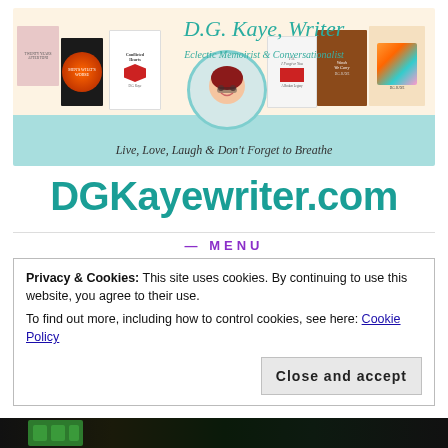[Figure (illustration): D.G. Kaye Writer website banner with book covers, avatar cartoon illustration of woman with red hair and glasses, teal/cream background. Title reads 'D.G. Kaye, Writer' in cursive teal script, subtitle 'Eclectic Memoirist & Conversationalist', tagline 'Live, Love, Laugh & Don't Forget to Breathe']
DGKayewriter.com
MENU
Privacy & Cookies: This site uses cookies. By continuing to use this website, you agree to their use.
To find out more, including how to control cookies, see here: Cookie Policy
Close and accept
[Figure (photo): Dark bottom strip of an image, appears to show a typewriter or keyboard with green letters/keys, partially visible at the bottom of the page]